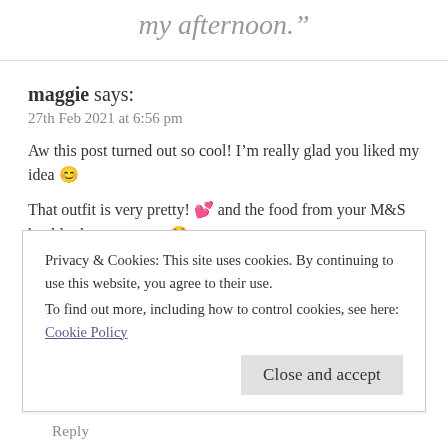my afternoon.”
maggie says:
27th Feb 2021 at 6:56 pm
Aw this post turned out so cool! I’m really glad you liked my idea 😊
That outfit is very pretty! 💕 and the food from your M&S haul looks so yummy 🤤
How are you liking You Have a Match so far? I’m currently reading a book called Fuel Your Fire and it has some great
Privacy & Cookies: This site uses cookies. By continuing to use this website, you agree to their use.
To find out more, including how to control cookies, see here: Cookie Policy
Close and accept
Reply